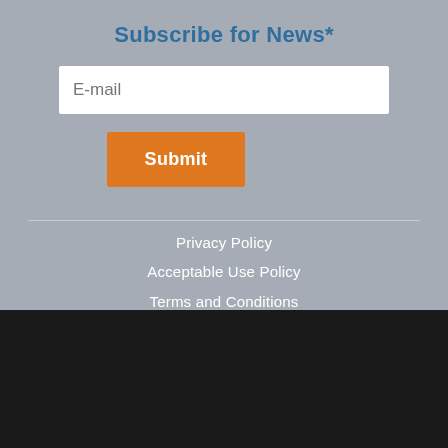Subscribe for News*
E-mail
Submit
Privacy Policy
Acceptable Use Policy
Terms and Conditions
BY CLICKING “ALLOW ALL”, YOU AGREE TO THE STORING OF COOKIES ON YOUR DEVICE TO ENHANCE SITE NAVIGATION, ANALYZE SITE USAGE, AND ASSIST IN OUR MARKETING EFFORTS.
ALLOW ALL